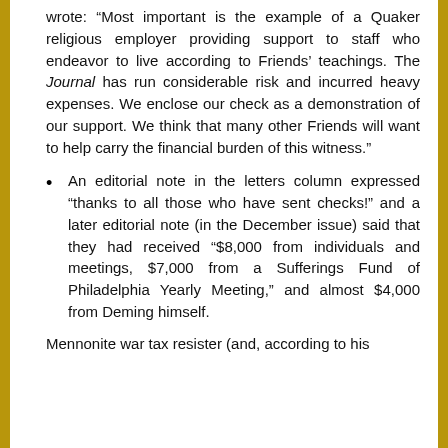wrote: “Most important is the example of a Quaker religious employer providing support to staff who endeavor to live according to Friends’ teachings. The Journal has run considerable risk and incurred heavy expenses. We enclose our check as a demonstration of our support. We think that many other Friends will want to help carry the financial burden of this witness.”
An editorial note in the letters column expressed “thanks to all those who have sent checks!” and a later editorial note (in the December issue) said that they had received “$8,000 from individuals and meetings, $7,000 from a Sufferings Fund of Philadelphia Yearly Meeting,” and almost $4,000 from Deming himself.
Mennonite war tax resister (and, according to his…